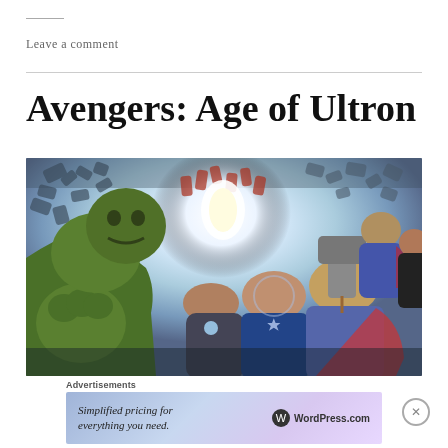Leave a comment
Avengers: Age of Ultron
[Figure (photo): Movie poster for Avengers: Age of Ultron showing the Hulk, Captain America, Thor with hammer, Iron Man and other heroes against a dramatic sky with flying figures and debris]
Advertisements
Simplified pricing for everything you need. WordPress.com